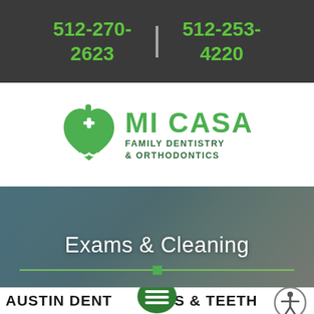512-270-2623 | 512-253-4220
[Figure (logo): Mi Casa Family Dentistry & Orthodontics logo — green tooth/house icon with white cross, next to bold green text MI CASA and dark green text FAMILY DENTISTRY & ORTHODONTICS]
[Figure (photo): Background photo of a smiling woman at the dentist, overlaid with semi-transparent dark tint, large white text 'Exams & Cleaning', and a green horizontal divider line with a green square in the center]
AUSTIN DENT       AMS & TEETH